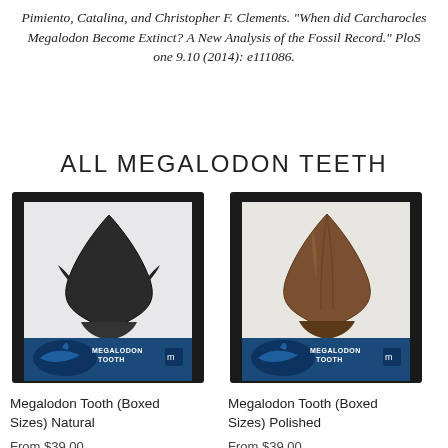Pimiento, Catalina, and Christopher F. Clements. "When did Carcharocles Megalodon Become Extinct? A New Analysis of the Fossil Record." PloS one 9.10 (2014): e111086.
ALL MEGALODON TEETH
[Figure (photo): Megalodon tooth in black display box with blue Megalodon Tooth label card — Natural variant]
[Figure (photo): Megalodon tooth in black display box with blue Megalodon Tooth label card — Polished variant]
Megalodon Tooth (Boxed Sizes) Natural
From $39.00
Megalodon Tooth (Boxed Sizes) Polished
From $39.00